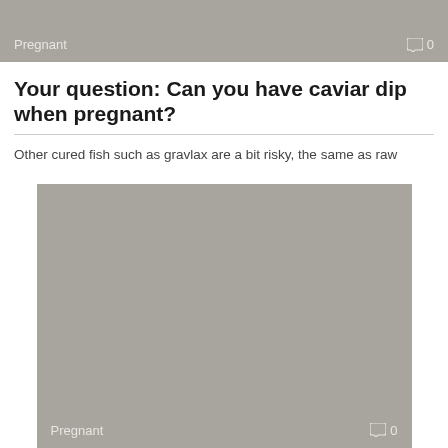[Figure (photo): Gray banner image with 'Pregnant' label and comment icon showing 0 comments]
Your question: Can you have caviar dip when pregnant?
Other cured fish such as gravlax are a bit risky, the same as raw
[Figure (photo): Gray banner image with 'Pregnant' label and comment icon showing 0 comments]
Question: Can you drink Monster energy drinks while pregnant?
Energy drinks are not recommended during pregnancy as they may contain high levels of